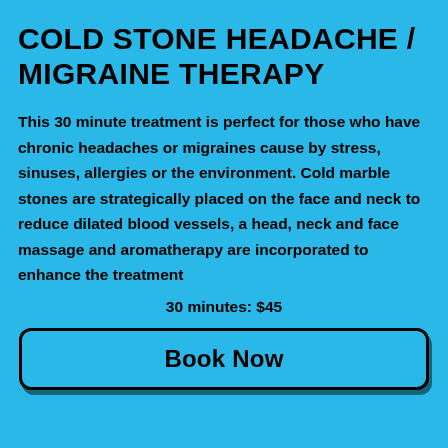COLD STONE HEADACHE / MIGRAINE THERAPY
This 30 minute treatment is perfect for those who have chronic headaches or migraines cause by stress, sinuses, allergies or the environment. Cold marble stones are strategically placed on the face and neck to reduce dilated blood vessels, a head, neck and face massage and aromatherapy are incorporated to enhance the treatment
30 minutes: $45
Book Now